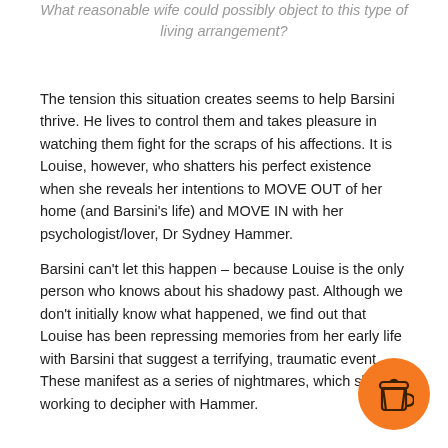What reasonable wife could possibly object to this type of living arrangement?
The tension this situation creates seems to help Barsini thrive. He lives to control them and takes pleasure in watching them fight for the scraps of his affections. It is Louise, however, who shatters his perfect existence when she reveals her intentions to MOVE OUT of her home (and Barsini's life) and MOVE IN with her psychologist/lover, Dr Sydney Hammer.
Barsini can't let this happen – because Louise is the only person who knows about his shadowy past. Although we don't initially know what happened, we find out that Louise has been repressing memories from her early life with Barsini that suggest a terrifying, traumatic event. These manifest as a series of nightmares, which she is working to decipher with Hammer.
[Figure (illustration): Orange circular button with a coffee cup icon]